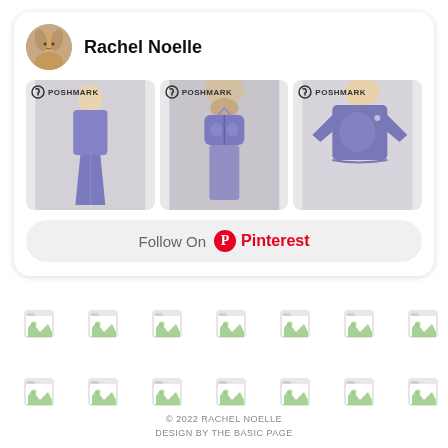Rachel Noelle
[Figure (screenshot): Three Poshmark product images showing purple/lavender Gymshark athletic wear: leggings, sports bra, and long-sleeve crop top]
Follow On Pinterest
[Figure (other): Row of broken image icons (7 items)]
[Figure (other): Row of broken image icons (7 items)]
© 2022 RACHEL NOELLE
DESIGN BY THE BASIC PAGE